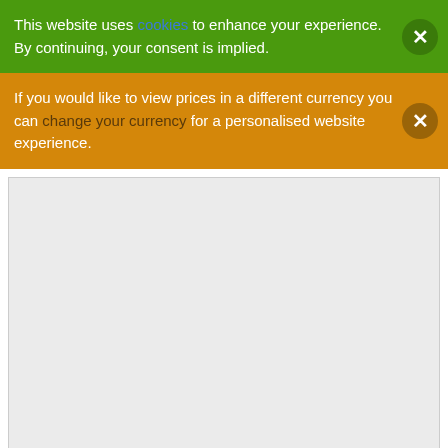This website uses cookies to enhance your experience. By continuing, your consent is implied.
If you would like to view prices in a different currency you can change your currency for a personalised website experience.
[Figure (other): Large empty light gray content area below the two notification banners]